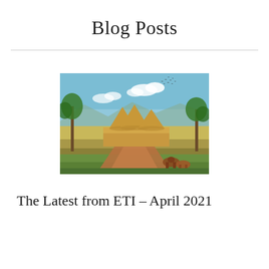Blog Posts
[Figure (photo): Architectural rendering of a building with conical thatched roofs in an African landscape with tropical vegetation, red dirt road, grazing animals, and birds in the sky.]
The Latest from ETI – April 2021